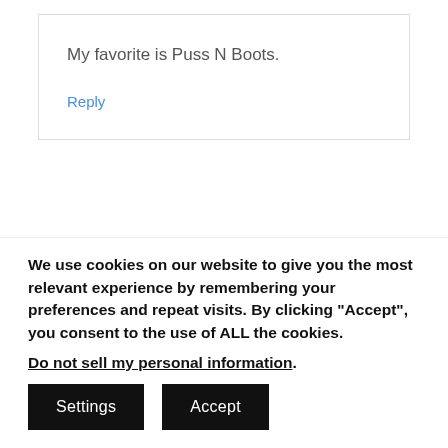My favorite is Puss N Boots.
Reply
Ashley C
June 4, 2016 at 7:42 am
We use cookies on our website to give you the most relevant experience by remembering your preferences and repeat visits. By clicking "Accept", you consent to the use of ALL the cookies.
Do not sell my personal information.
Settings
Accept